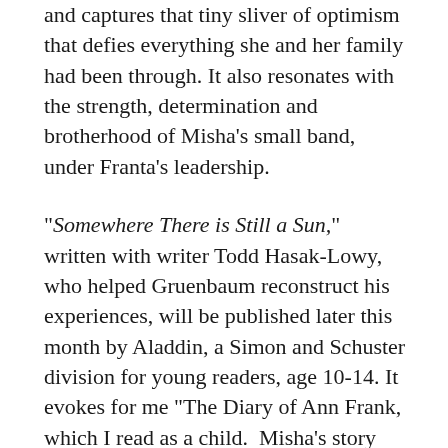and captures that tiny sliver of optimism that defies everything she and her family had been through. It also resonates with the strength, determination and brotherhood of Misha's small band, under Franta's leadership.
“Somewhere There is Still a Sun,” written with writer Todd Hasak-Lowy, who helped Gruenbaum reconstruct his experiences, will be published later this month by Aladdin, a Simon and Schuster division for young readers, age 10-14. It evokes for me “The Diary of Ann Frank, which I read as a child. Misha’s story spoke to the young person buried in all of us, and, as an adult, I could not put it down.
I welcome your comments in the section below. To be